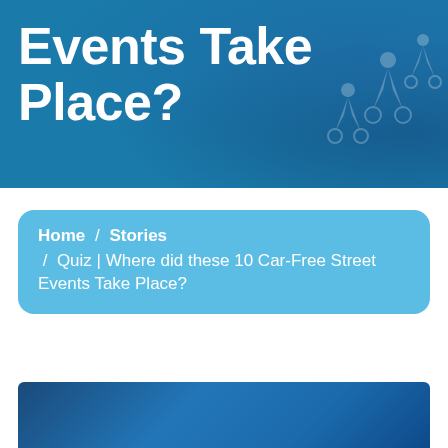Events Take Place?
Home / Stories / Quiz | Where did these 10 Car-Free Street Events Take Place?
[Figure (illustration): Partial blue image at bottom of page, dark blue gradient background]